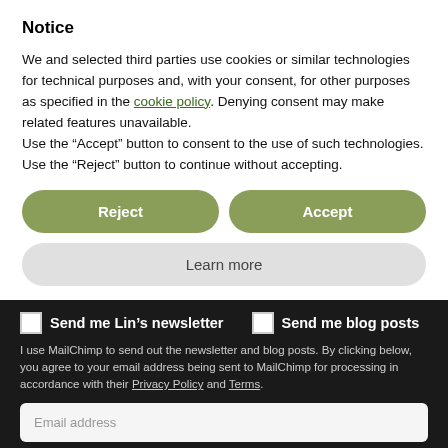Notice
We and selected third parties use cookies or similar technologies for technical purposes and, with your consent, for other purposes as specified in the cookie policy. Denying consent may make related features unavailable.
Use the “Accept” button to consent to the use of such technologies. Use the “Reject” button to continue without accepting.
Reject | Accept
Learn more
Send me Lin’s newsletter   Send me blog posts
I use MailChimp to send out the newsletter and blog posts. By clicking below, you agree to your email address being sent to MailChimp for processing in accordance with their Privacy Policy and Terms.
Email address